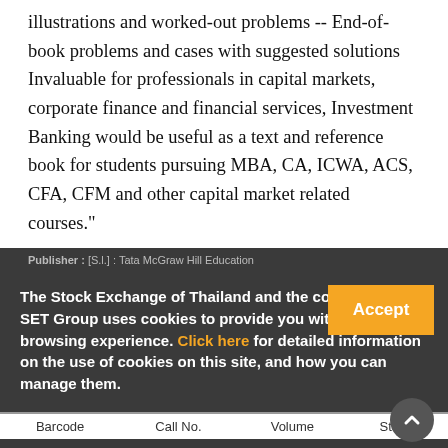illustrations and worked-out problems -- End-of-book problems and cases with suggested solutions Invaluable for professionals in capital markets, corporate finance and financial services, Investment Banking would be useful as a text and reference book for students pursuing MBA, CA, ICWA, ACS, CFA, CFM and other capital market related courses."
Publisher : [S.l.] : Tata McGraw Hill Education
Private Limited
Publish Year : 2015
Category : Corporate Finance
Page : 702 p.
The Stock Exchange of Thailand and the companies in SET Group uses cookies to provide you with a better browsing experience. Click here for detailed information on the use of cookies on this site, and how you can manage them.
| Barcode | Call No. | Volume | Status |
| --- | --- | --- | --- |